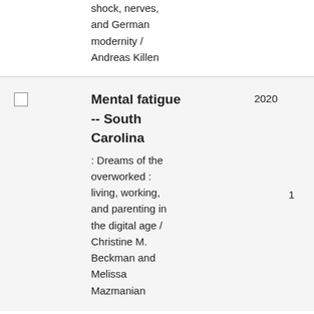shock, nerves, and German modernity / Andreas Killen
Mental fatigue -- South Carolina : Dreams of the overworked : living, working, and parenting in the digital age / Christine M. Beckman and Melissa Mazmanian 2020 1